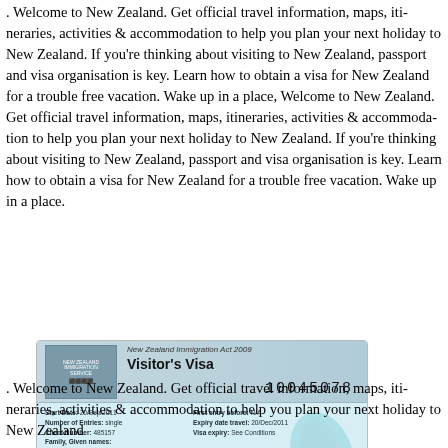. Welcome to New Zealand. Get official travel information, maps, itineraries, activities & accommodation to help you plan your next holiday to New Zealand. If you're thinking about visiting to New Zealand, passport and visa organisation is key. Learn how to obtain a visa for New Zealand for a trouble free vacation. Wake up in a place, Welcome to New Zealand. Get official travel information, maps, itineraries, activities & accommodation to help you plan your next holiday to New Zealand. If you're thinking about visiting to New Zealand, passport and visa organisation is key. Learn how to obtain a visa for New Zealand for a trouble free vacation. Wake up in a place.
[Figure (photo): New Zealand Visitor's Visa document image showing visa number 10045078, issued under the New Zealand Immigration Act 2009. Start Date: 20/Sep/2011, Number of Entries: single, Client Number: 485157, First entry before: N/A, Expiry date travel: 20/Dec/2011, Visa expiry: See Conditions. Conditions state the visa expires 1 month(s) after arrival. Footer reads: New Zealand Welcomes the World: Rugby World Cup 2011.]
. Welcome to New Zealand. Get official travel information, maps, itineraries, activities & accommodation to help you plan your next holiday to New Zealand